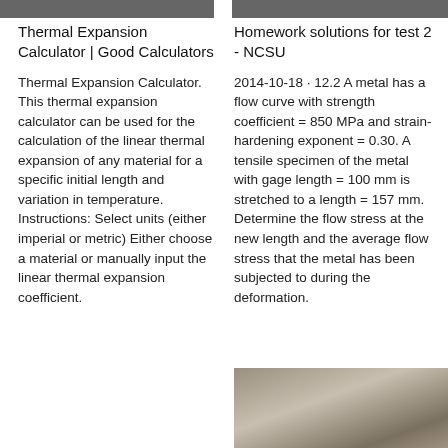Thermal Expansion Calculator | Good Calculators
Thermal Expansion Calculator. This thermal expansion calculator can be used for the calculation of the linear thermal expansion of any material for a specific initial length and variation in temperature. Instructions: Select units (either imperial or metric) Either choose a material or manually input the linear thermal expansion coefficient.
Homework solutions for test 2 - NCSU
2014-10-18 · 12.2 A metal has a flow curve with strength coefficient = 850 MPa and strain-hardening exponent = 0.30. A tensile specimen of the metal with gage length = 100 mm is stretched to a length = 157 mm. Determine the flow stress at the new length and the average flow stress that the metal has been subjected to during the deformation.
[Figure (photo): Photograph of metal wire coils or spools, showing metallic silver-grey wound material]